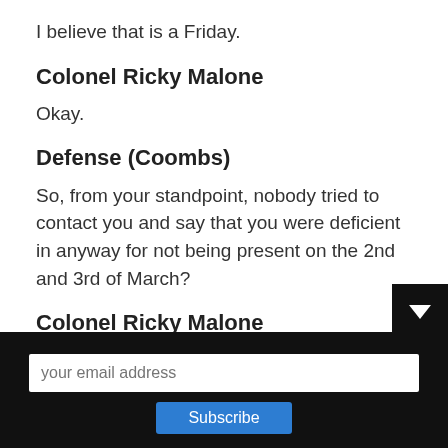I believe that is a Friday.
Colonel Ricky Malone
Okay.
Defense (Coombs)
So, from your standpoint, nobody tried to contact you and say that you were deficient in anyway for not being present on the 2nd and 3rd of March?
Colonel Ricky Malone
Not that I was aware of.
Defense (Coombs)